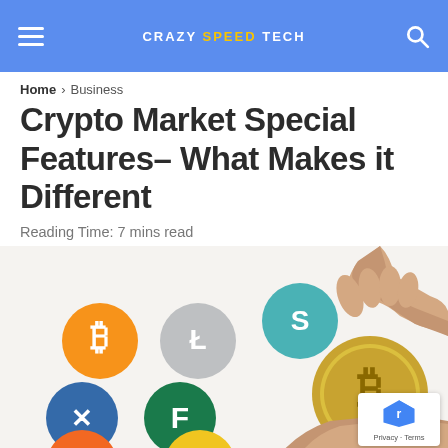CRAZY SPEED TECH
Home > Business
Crypto Market Special Features- What Makes it Different
Reading Time: 7 mins read
[Figure (photo): Hands exchanging a gold Bitcoin coin surrounded by cryptocurrency logo icons including Bitcoin, Litecoin, Ripple, FeatherCoin, Dash, and others on white background]